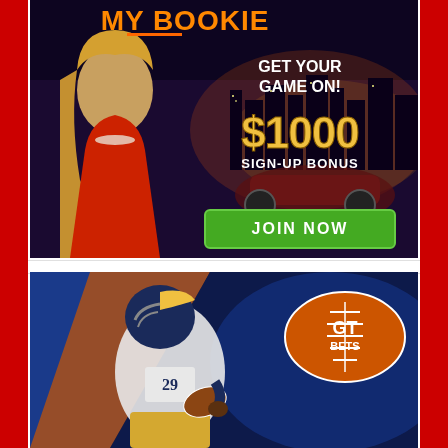[Figure (advertisement): MyBookie sports betting advertisement. Dark background with Las Vegas skyline. Blonde woman in red dress on left. Text: 'MY BOOKIE', 'GET YOUR GAME ON!', '$1000 SIGN-UP BONUS', green 'JOIN NOW' button.]
[Figure (advertisement): GT Bets sports betting advertisement. NFL football player in Rams uniform holding football. Blue and orange diagonal background. GT Bets football logo in upper right.]